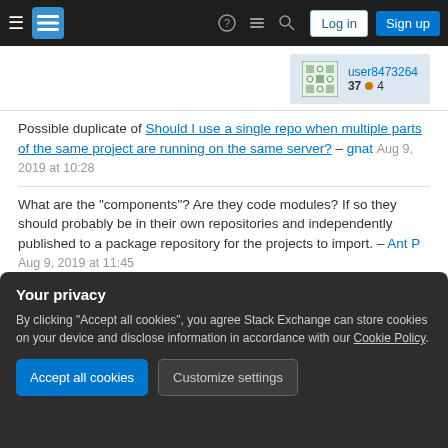Stack Exchange navigation bar with Log in and Sign up buttons
[Figure (screenshot): User card showing user8473264 with reputation 37 and badge count 4]
Possible duplicate of Should I use a single repo when multiple parts of the same project are running on the same server? – gnat Aug 9, 2019 at 10:28
What are the "components"? Are they code modules? If so they should probably be in their own repositories and independently published to a package repository for the projects to import. – Ant P Aug 9, 2019 at 11:45
Your privacy
By clicking "Accept all cookies", you agree Stack Exchange can store cookies on your device and disclose information in accordance with our Cookie Policy.
Accept all cookies
Customize settings
are used as such in the sub-projects, they would not